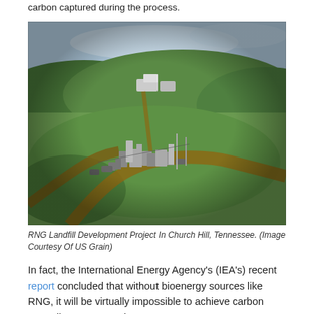carbon captured during the process.
[Figure (photo): Aerial fisheye-lens photo of RNG Landfill Development Project in Church Hill, Tennessee, showing industrial equipment and green hills.]
RNG Landfill Development Project In Church Hill, Tennessee. (Image Courtesy Of US Grain)
In fact, the International Energy Agency's (IEA's) recent report concluded that without bioenergy sources like RNG, it will be virtually impossible to achieve carbon neutrality – a targeted